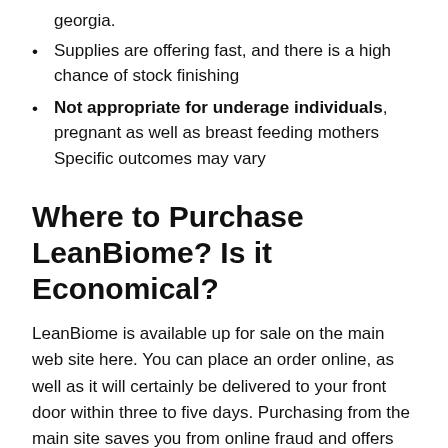georgia.
Supplies are offering fast, and there is a high chance of stock finishing
Not appropriate for underage individuals, pregnant as well as breast feeding mothers Specific outcomes may vary
Where to Purchase LeanBiome? Is it Economical?
LeanBiome is available up for sale on the main web site here. You can place an order online, as well as it will certainly be delivered to your front door within three to five days. Purchasing from the main site saves you from online fraud and offers you a